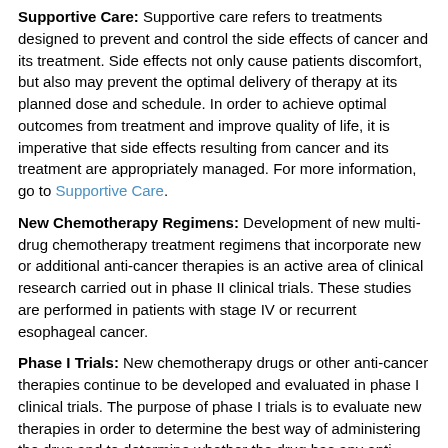Supportive Care: Supportive care refers to treatments designed to prevent and control the side effects of cancer and its treatment. Side effects not only cause patients discomfort, but also may prevent the optimal delivery of therapy at its planned dose and schedule. In order to achieve optimal outcomes from treatment and improve quality of life, it is imperative that side effects resulting from cancer and its treatment are appropriately managed. For more information, go to Supportive Care.
New Chemotherapy Regimens: Development of new multi-drug chemotherapy treatment regimens that incorporate new or additional anti-cancer therapies is an active area of clinical research carried out in phase II clinical trials. These studies are performed in patients with stage IV or recurrent esophageal cancer.
Phase I Trials: New chemotherapy drugs or other anti-cancer therapies continue to be developed and evaluated in phase I clinical trials. The purpose of phase I trials is to evaluate new therapies in order to determine the best way of administering the drug and to determine whether the drug has any anti-cancer activity in patients with esophageal cancer. Patients with recurrent esophageal cancer should consider participation in phase I trials.
Multiple Drug Resistance Inhibitors: Esophageal cancer can be